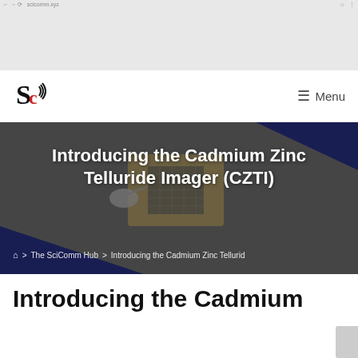[Figure (screenshot): Ad banner area at top of webpage, light grey background]
SciComm Hub logo and Menu navigation bar
[Figure (photo): Hero image of the AstroSat / CZTI satellite instrument rendered in 3D, with blue solar panels, overlaid with the article title 'Introducing the Cadmium Zinc Telluride Imager (CZTI)' in white bold text, and a breadcrumb navigation below]
Introducing the Cadmium Zinc Telluride Imager (CZTI)
Introducing the Cadmium